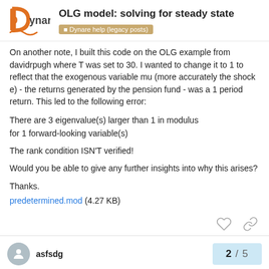OLG model: solving for steady state — Dynare help (legacy posts)
On another note, I built this code on the OLG example from davidrpugh where T was set to 30. I wanted to change it to 1 to reflect that the exogenous variable mu (more accurately the shock e) - the returns generated by the pension fund - was a 1 period return. This led to the following error:
There are 3 eigenvalue(s) larger than 1 in modulus
for 1 forward-looking variable(s)
The rank condition ISN'T verified!
Would you be able to give any further insights into why this arises?
Thanks.
predetermined.mod (4.27 KB)
asfsdg   2 / 5